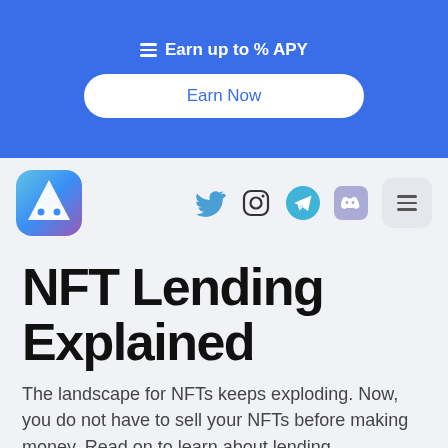Earn up to % APY
Earn Now
[Figure (logo): App logo with ghost/owl face icon, gradient blue-purple rounded square]
[Figure (infographic): Social media icons: Twitter bird, Instagram camera, Telegram paper plane, Discord speech bubble, and hamburger menu button]
NFT Lending Explained
The landscape for NFTs keeps exploding. Now, you do not have to sell your NFTs before making money. Read on to learn about lending